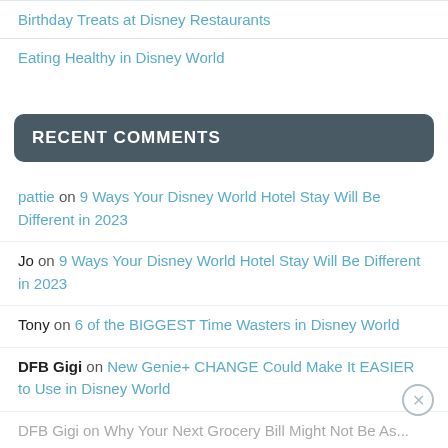Birthday Treats at Disney Restaurants
Eating Healthy in Disney World
RECENT COMMENTS
pattie on 9 Ways Your Disney World Hotel Stay Will Be Different in 2023
Jo on 9 Ways Your Disney World Hotel Stay Will Be Different in 2023
Tony on 6 of the BIGGEST Time Wasters in Disney World
DFB Gigi on New Genie+ CHANGE Could Make It EASIER to Use in Disney World
DFB Gigi on Why Your Next Grocery Bill Might Not Be As...